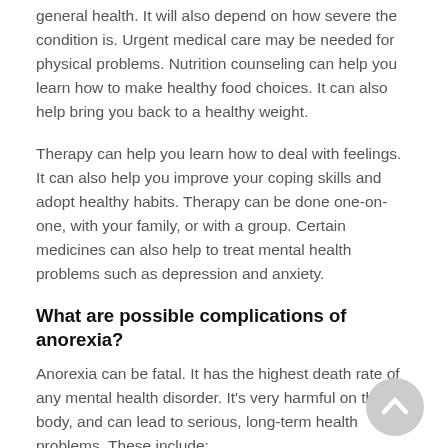general health. It will also depend on how severe the condition is. Urgent medical care may be needed for physical problems. Nutrition counseling can help you learn how to make healthy food choices. It can also help bring you back to a healthy weight.
Therapy can help you learn how to deal with feelings. It can also help you improve your coping skills and adopt healthy habits. Therapy can be done one-on-one, with your family, or with a group. Certain medicines can also help to treat mental health problems such as depression and anxiety.
What are possible complications of anorexia?
Anorexia can be fatal. It has the highest death rate of any mental health disorder. It's very harmful on the body, and can lead to serious, long-term health problems. These include: